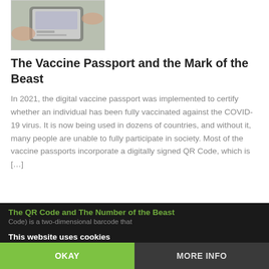[Figure (photo): Photo of hands holding a smartphone displaying a vaccine passport / digital ID card]
The Vaccine Passport and the Mark of the Beast
In 2021, the digital vaccine passport was implemented to certify whether an individual has been fully vaccinated against the COVID-19 virus. It is now being used in dozens of countries, and without it, many people are unable to fully participate in society. Most of the vaccine passports incorporate a digitally signed QR Code, which is […]
This website uses cookies
The QR Code and The Number of the Beast
Code) is a two-dimensional barcode that
OKAY
MORE INFO